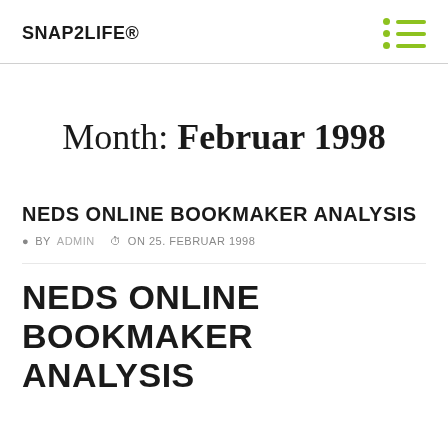SNAP2LIFE®
Month: Februar 1998
NEDS ONLINE BOOKMAKER ANALYSIS
BY ADMIN  ON 25. FEBRUAR 1998
NEDS ONLINE BOOKMAKER ANALYSIS